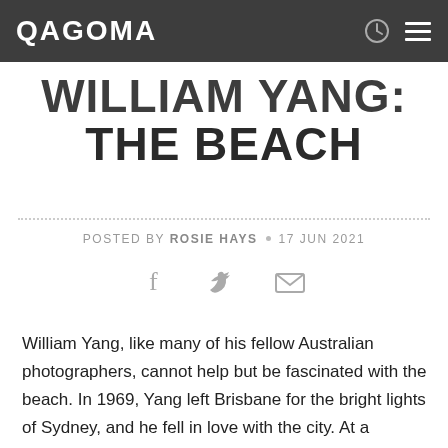QAGOMA
WILLIAM YANG: THE BEACH
POSTED BY ROSIE HAYS • 17 JUN 2021
[Figure (infographic): Share icons: Facebook, Twitter, Email]
William Yang, like many of his fellow Australian photographers, cannot help but be fascinated with the beach. In 1969, Yang left Brisbane for the bright lights of Sydney, and he fell in love with the city. At a distance from his family and Queensland's conservatism, Sydney provided an opportunity for reinvention.